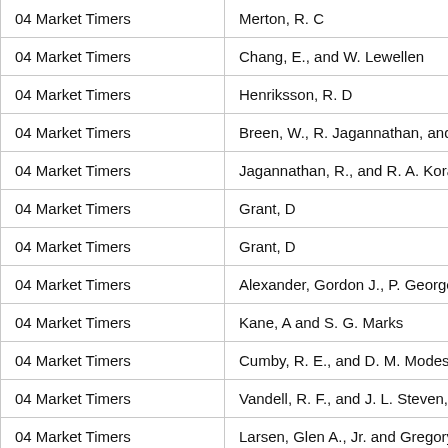| Category | Author |
| --- | --- |
| 04 Market Timers | Merton, R. C |
| 04 Market Timers | Chang, E., and W. Lewellen |
| 04 Market Timers | Henriksson, R. D |
| 04 Market Timers | Breen, W., R. Jagannathan, and A |
| 04 Market Timers | Jagannathan, R., and R. A. Korajo |
| 04 Market Timers | Grant, D |
| 04 Market Timers | Grant, D |
| 04 Market Timers | Alexander, Gordon J., P. George |
| 04 Market Timers | Kane, A and S. G. Marks |
| 04 Market Timers | Cumby, R. E., and D. M. Modest |
| 04 Market Timers | Vandell, R. F., and J. L. Steven, |
| 04 Market Timers | Larsen, Glen A., Jr. and Gregory |